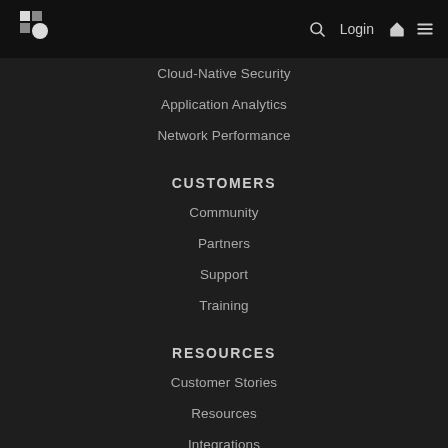Logo | Search | Login | Home | Menu
Cloud-Native Security
Application Analytics
Network Performance
CUSTOMERS
Community
Partners
Support
Training
RESOURCES
Customer Stories
Resources
Integrations
More Resources
COMPANY
About Us
Careers